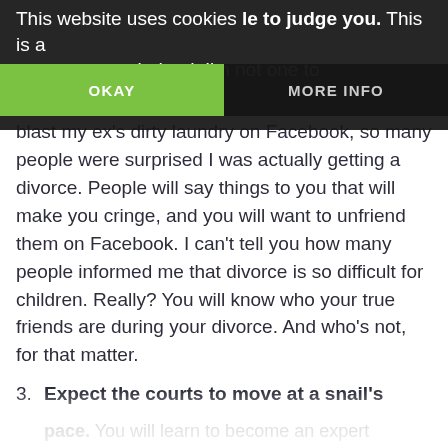This website uses cookies | OKAY | MORE INFO
blast my ex's dirty laundry on Facebook, so many people were surprised I was actually getting a divorce. People will say things to you that will make you cringe, and you will want to unfriend them on Facebook. I can't tell you how many people informed me that divorce is so difficult for children. Really? You will know who your true friends are during your divorce.  And who's not, for that matter.
3. Expect the courts to move at a snail's pace. You will learn to become an expert